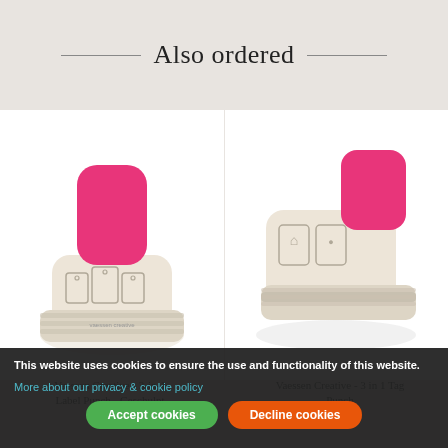Also ordered
[Figure (photo): Vaessen Creative 3-in-1 label punch tool, cream/beige colored with hot pink press top, front view showing tag punch shapes embossed on body]
[Figure (photo): Vaessen Creative 3 in 1 Tag Punch tool, cream/beige colored with hot pink press top, side/angled view]
Vaessen Creative - 3-in-1 Label Punch - Geschulpt
Vaessen Creative - 3 in 1 Tag Punch
This website uses cookies to ensure the use and functionality of this website.
More about our privacy & cookie policy
Accept cookies
Decline cookies